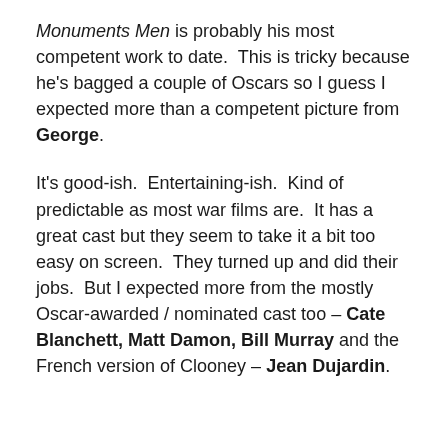Monuments Men is probably his most competent work to date. This is tricky because he's bagged a couple of Oscars so I guess I expected more than a competent picture from George.
It's good-ish. Entertaining-ish. Kind of predictable as most war films are. It has a great cast but they seem to take it a bit too easy on screen. They turned up and did their jobs. But I expected more from the mostly Oscar-awarded / nominated cast too – Cate Blanchett, Matt Damon, Bill Murray and the French version of Clooney – Jean Dujardin.